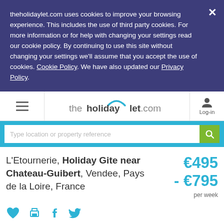theholidaylet.com uses cookies to improve your browsing experience. This includes the use of third party cookies. For more information or for help with changing your settings read our cookie policy. By continuing to use this site without changing your settings we'll assume that you accept the use of cookies. Cookie Policy. We have also updated our Privacy Policy.
[Figure (logo): theholidaylet.com logo with blue arc above the word 'holiday']
Type location or property reference
L'Etournerie, Holiday Gite near Chateau-Guibert, Vendee, Pays de la Loire, France
€495 - €795 per week